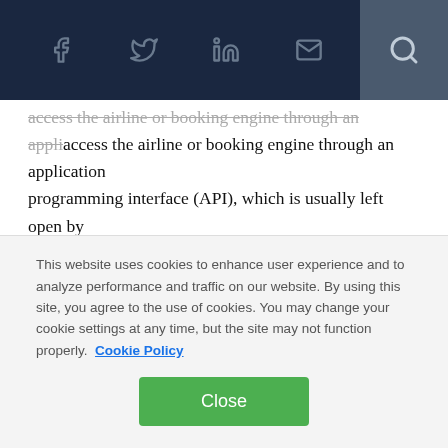[Social share icons: Facebook, Twitter, LinkedIn, Email, Search]
access the airline or booking engine through an application programming interface (API), which is usually left open by the airline. Such scripts are otherwise known as bots and generally account for more than 90% of the traffic on an airline's website.
Consequently, tickets aren't booked directly with the airline, but with the OTA. The airline ends up sharing its negligent profit with the OTA, paying it an affiliation fee. Consider the
This website uses cookies to enhance user experience and to analyze performance and traffic on our website. By using this site, you agree to the use of cookies. You may change your cookie settings at any time, but the site may not function properly.  Cookie Policy
Close